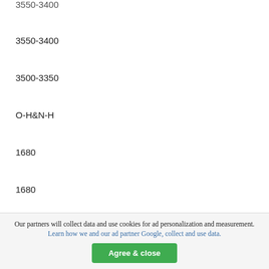3550-3400
3550-3400
3500-3350
O-H&N-H
1680
1680
1650
C=O
1480
1455
1300
Our partners will collect data and use cookies for ad personalization and measurement. Learn how we and our ad partner Google, collect and use data.